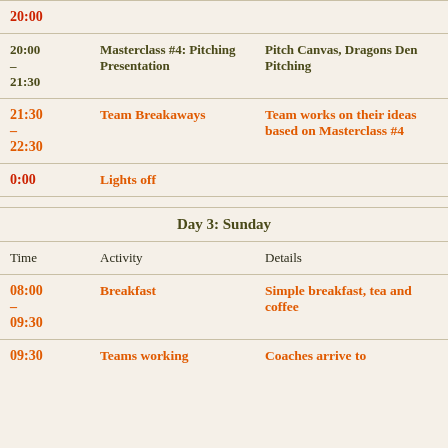| Time | Activity | Details |
| --- | --- | --- |
| 20:00 |  |  |
| 20:00 – 21:30 | Masterclass #4: Pitching Presentation | Pitch Canvas, Dragons Den Pitching |
| 21:30 – 22:30 | Team Breakaways | Team works on their ideas based on Masterclass #4 |
| 0:00 | Lights off |  |
Day 3: Sunday
| Time | Activity | Details |
| --- | --- | --- |
| 08:00 – 09:30 | Breakfast | Simple breakfast, tea and coffee |
| 09:30 | Teams working | Coaches arrive to |